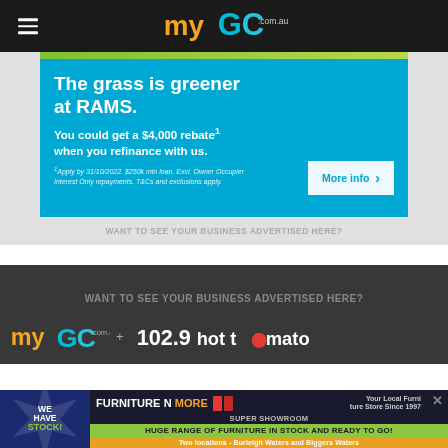myGC.com.au
[Figure (infographic): RAMS advertisement: The grass is greener at RAMS. You could get a $4,000 rebate when you refinance with us. Apply by 31/10/2022. $250k min loan. Excl. Owner Occupier Interest Only repayments. T&Cs and exclusions apply. More info button.]
WANT TO SEE YOUR BUSINESS ADVERTISED HERE?
WANT TO SEE YOUR BUSINESS ADVERTISED HERE?
[Figure (logo): myGC.com.au logo and 102.9 Hot Tomato partnership logo]
[Figure (infographic): Furniture N More Super Showroom advertisement. We Have Stock! Huge range of furniture in stock and ready to go! Two locations - Burleigh Waters and Biggers Waters. Your Local Furniture Store Since 1997.]